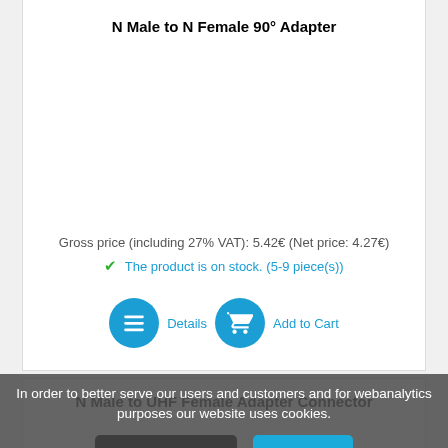N Male to N Female 90° Adapter
Gross price (including 27% VAT): 5.42€ (Net price: 4.27€)
The product is on stock. (5-9 piece(s))
N Male to UHF Female Adapter Connector
In order to better serve our users and customers and for webanalytics purposes our website uses cookies.